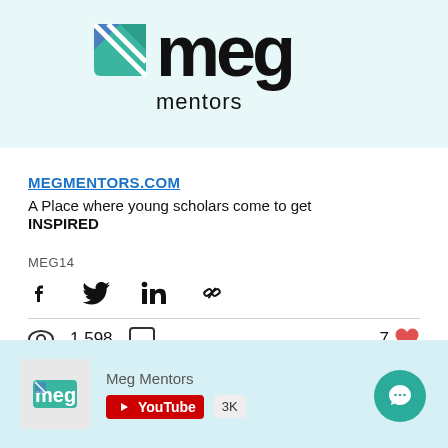[Figure (logo): Meg Mentors logo — a teal and blue checkered square icon next to large 'meg' letters and 'mentors' text]
MEGMENTORS.COM
A Place where young scholars come to get INSPIRED
MEG14
[Figure (infographic): Social share icons: Facebook, Twitter, LinkedIn, chain link]
1,598 views, 0 comments, 7 likes
[Figure (infographic): Bottom card showing Meg Mentors YouTube channel with 3K subscribers and a teal chat bubble button]